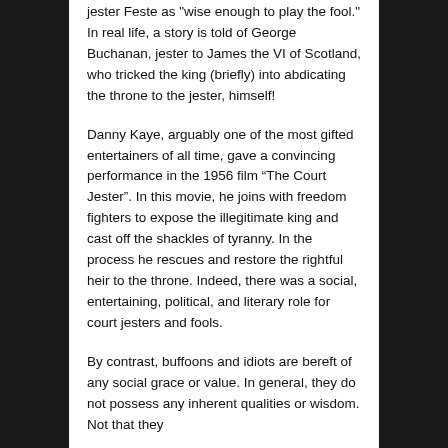jester Feste as "wise enough to play the fool." In real life, a story is told of George Buchanan, jester to James the VI of Scotland, who tricked the king (briefly) into abdicating the throne to the jester, himself!
Danny Kaye, arguably one of the most gifted entertainers of all time, gave a convincing performance in the 1956 film “The Court Jester”. In this movie, he joins with freedom fighters to expose the illegitimate king and cast off the shackles of tyranny. In the process he rescues and restore the rightful heir to the throne. Indeed, there was a social, entertaining, political, and literary role for court jesters and fools.
By contrast, buffoons and idiots are bereft of any social grace or value. In general, they do not possess any inherent qualities or wisdom. Not that they